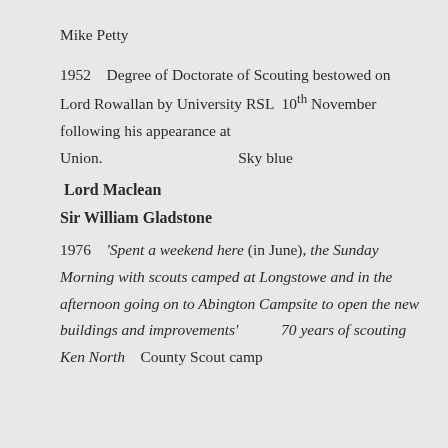Mike Petty
1952    Degree of Doctorate of Scouting bestowed on Lord Rowallan by University RSL  10th November following his appearance at
Union.                                        Sky blue
Lord Maclean
Sir William Gladstone
1976    'Spent a weekend here (in June), the Sunday Morning with scouts camped at Longstowe and in the afternoon going on to Abington Campsite to open the new buildings and improvements'              70 years of scouting Ken North     County Scout camp